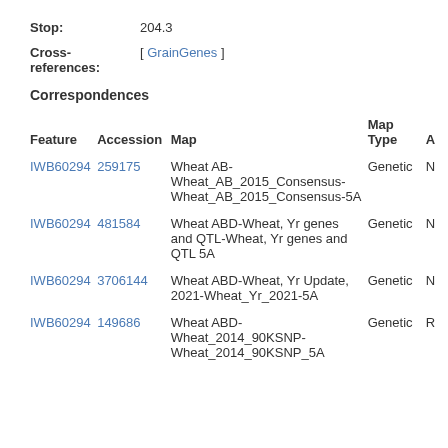Stop: 204.3
Cross-references: [ GrainGenes ]
Correspondences
| Feature | Accession | Map | Map Type | A |
| --- | --- | --- | --- | --- |
| IWB60294 | 259175 | Wheat AB-Wheat_AB_2015_Consensus-Wheat_AB_2015_Consensus-5A | Genetic | N |
| IWB60294 | 481584 | Wheat ABD-Wheat, Yr genes and QTL-Wheat, Yr genes and QTL 5A | Genetic | N |
| IWB60294 | 3706144 | Wheat ABD-Wheat, Yr Update, 2021-Wheat_Yr_2021-5A | Genetic | N |
| IWB60294 | 149686 | Wheat ABD-Wheat_2014_90KSNP-Wheat_2014_90KSNP_5A | Genetic | R |